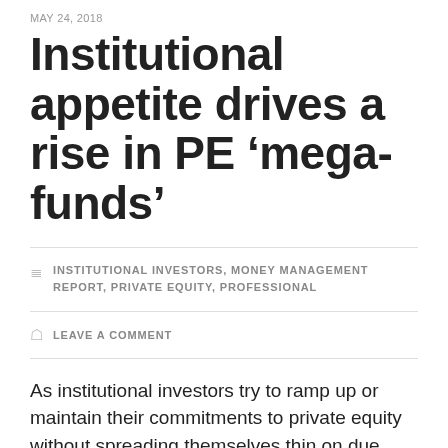MAY 24, 2018
Institutional appetite drives a rise in PE ‘mega-funds’
INSTITUTIONAL INVESTORS, MONEY MANAGEMENT REPORT, PRIVATE EQUITY, PROFESSIONAL
LEAVE A COMMENT
As institutional investors try to ramp up or maintain their commitments to private equity without spreading themselves thin on due diligence efforts, their increasingly concentrated investments have